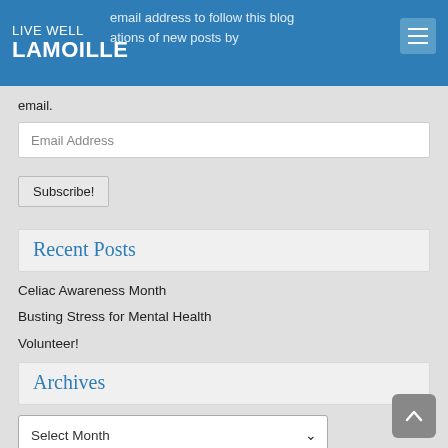LIVE WELL LAMOILLE
email address to follow this blog and receive notifications of new posts by email.
Email Address
Subscribe!
Recent Posts
Celiac Awareness Month
Busting Stress for Mental Health
Volunteer!
Archives
Select Month